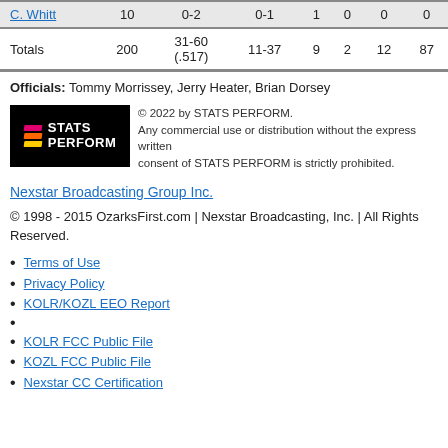| Player | Min | FG | 3PT | Reb | Ast | Stl | Pts |
| --- | --- | --- | --- | --- | --- | --- | --- |
| C. Whitt | 10 | 0-2 | 0-1 | 1 | 0 | 0 | 0 |
| Totals | 200 | 31-60 (.517) | 11-37 | 9 | 2 | 12 | 87 |
Officials: Tommy Morrissey, Jerry Heater, Brian Dorsey
[Figure (logo): STATS PERFORM logo with colored diagonal stripes]
© 2022 by STATS PERFORM. Any commercial use or distribution without the express written consent of STATS PERFORM is strictly prohibited.
Nexstar Broadcasting Group Inc.
© 1998 - 2015 OzarksFirst.com | Nexstar Broadcasting, Inc. | All Rights Reserved.
Terms of Use
Privacy Policy
KOLR/KOZL EEO Report
KOLR FCC Public File
KOZL FCC Public File
Nexstar CC Certification